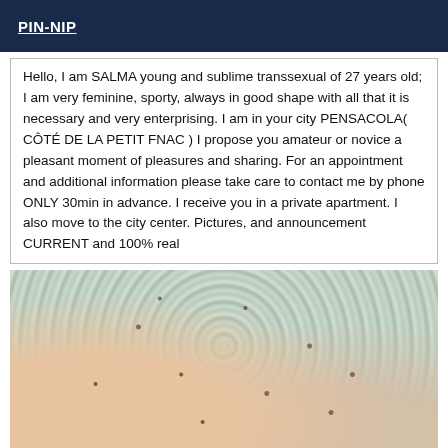PIN-NIP
Hello, I am SALMA young and sublime transsexual of 27 years old; I am very feminine, sporty, always in good shape with all that it is necessary and very enterprising. I am in your city PENSACOLA( CÔTÉ DE LA PETIT FNAC ) I propose you amateur or novice a pleasant moment of pleasures and sharing. For an appointment and additional information please take care to contact me by phone ONLY 30min in advance. I receive you in a private apartment. I also move to the city center. Pictures, and announcement CURRENT and 100% real
[Figure (photo): Close-up photo of skin/fabric with a mottled light green and brown spotted pattern, possibly a textile or skin texture.]